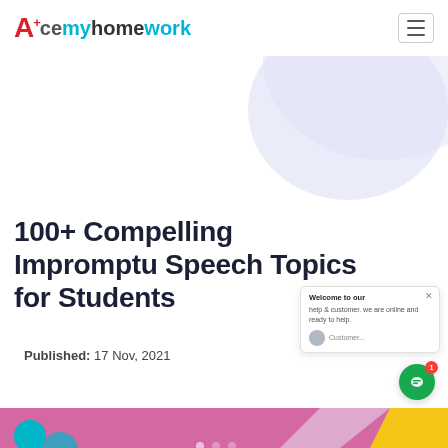AcemyHomework
[Figure (illustration): Lavender/light-blue decorative blob shape in the top-right corner of the page, serving as a background design element.]
100+ Compelling Impromptu Speech Topics for Students
Published: 17 Nov, 2021
[Figure (illustration): Colorful decorative banner strip at the bottom of the page with pink/purple background and geometric shapes in teal, yellow, and other colors.]
[Figure (screenshot): Chat popup overlay on the right side showing a welcome message: 'Welcome to our help & customer. We are online and ready to help.' with a small avatar icon and a green circular chat button with a red badge showing the number 1.]